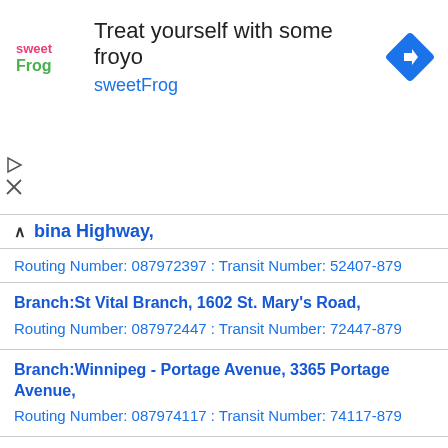[Figure (screenshot): Advertisement banner for sweetFrog frozen yogurt with logo, tagline 'Treat yourself with some froyo', brand name 'sweetFrog', and a blue navigation/direction icon.]
bina Highway,
Routing Number: 087972397 : Transit Number: 52407-879
Branch:St Vital Branch, 1602 St. Mary's Road,
Routing Number: 087972447 : Transit Number: 72447-879
Branch:Winnipeg - Portage Avenue, 3365 Portage Avenue,
Routing Number: 087974117 : Transit Number: 74117-879
Branch:Henderson Branch, 1366 Henderson Highway,